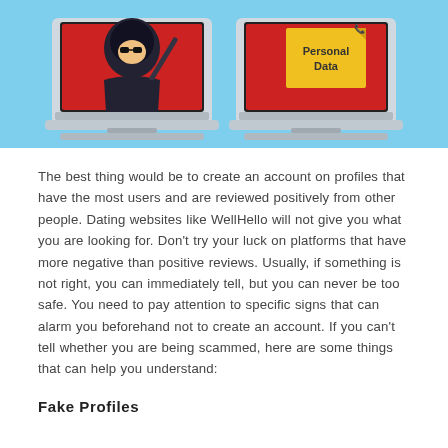[Figure (illustration): Illustration showing two laptops side by side against a light blue background. Left laptop shows a hooded hacker figure on screen holding a fishing rod or pointer. Right laptop shows a red screen with a yellow sticky note labeled 'Personal Data'.]
The best thing would be to create an account on profiles that have the most users and are reviewed positively from other people. Dating websites like WellHello will not give you what you are looking for. Don't try your luck on platforms that have more negative than positive reviews. Usually, if something is not right, you can immediately tell, but you can never be too safe. You need to pay attention to specific signs that can alarm you beforehand not to create an account. If you can't tell whether you are being scammed, here are some things that can help you understand:
Fake Profiles